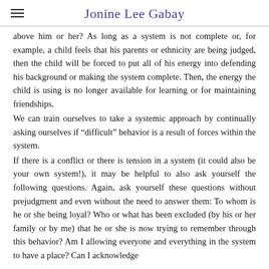Jonine Lee Gabay
above him or her? As long as a system is not complete or, for example, a child feels that his parents or ethnicity are being judged, then the child will be forced to put all of his energy into defending his background or making the system complete. Then, the energy the child is using is no longer available for learning or for maintaining friendships.
We can train ourselves to take a systemic approach by continually asking ourselves if “difficult” behavior is a result of forces within the system.
If there is a conflict or there is tension in a system (it could also be your own system!), it may be helpful to also ask yourself the following questions. Again, ask yourself these questions without prejudgment and even without the need to answer them: To whom is he or she being loyal? Who or what has been excluded (by his or her family or by me) that he or she is now trying to remember through this behavior? Am I allowing everyone and everything in the system to have a place? Can I acknowledge